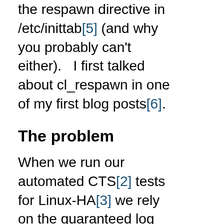the respawn directive in /etc/inittab[5] (and why you probably can't either).   I first talked about cl_respawn in one of my first blog posts[6].
The problem
When we run our automated CTS[2] tests for Linux-HA[3] we rely on the guaranteed log entry delivery